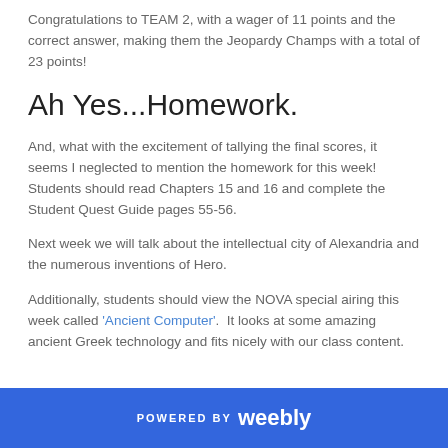Congratulations to TEAM 2, with a wager of 11 points and the correct answer, making them the Jeopardy Champs with a total of 23 points!
Ah Yes...Homework.
And, what with the excitement of tallying the final scores, it seems I neglected to mention the homework for this week! Students should read Chapters 15 and 16 and complete the Student Quest Guide pages 55-56.
Next week we will talk about the intellectual city of Alexandria and the numerous inventions of Hero.
Additionally, students should view the NOVA special airing this week called 'Ancient Computer'.  It looks at some amazing ancient Greek technology and fits nicely with our class content.
POWERED BY weebly